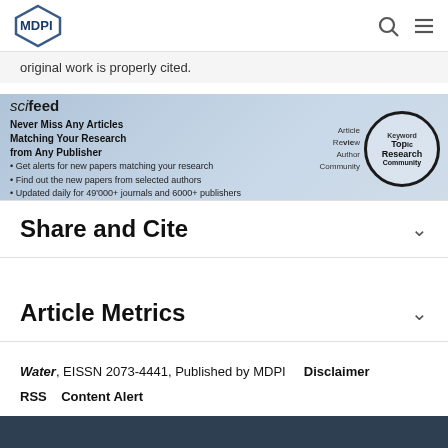MDPI
original work is properly cited.
[Figure (infographic): ScienceFeed banner advertisement: 'Never Miss Any Articles Matching Your Research from Any Publisher'. Includes bullet points about alerts for new papers, authors, and 49000+ journals. Shows a magnifying glass circle with keywords like Article, Review, Author, Research Community, Keyword, Topic.]
Share and Cite
Article Metrics
Water, EISSN 2073-4441, Published by MDPI   Disclaimer
RSS   Content Alert